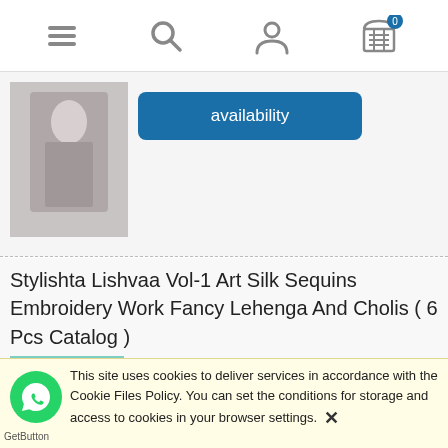[Figure (screenshot): Mobile navigation bar with hamburger menu, search icon, account icon, and cart icon with badge showing 0]
[Figure (photo): Partial view of previous product - a grey/silver Indian ethnic wear outfit on a mannequin or model]
[Figure (other): Blue rounded button with text 'availability']
Stylishta Lishvaa Vol-1 Art Silk Sequins Embroidery Work Fancy Lehenga And Cholis ( 6 Pcs Catalog )
[Figure (photo): Teal/turquoise floral printed lehenga choli on model]
₹ 14,994.00
( 1 pcs = ₹ 2,499.00 )
excl. 12% TAX, excl. shipping costs
[Figure (other): Blue rounded button with text 'order now']
This site uses cookies to deliver services in accordance with the Cookie Files Policy. You can set the conditions for storage and access to cookies in your browser settings. ✕